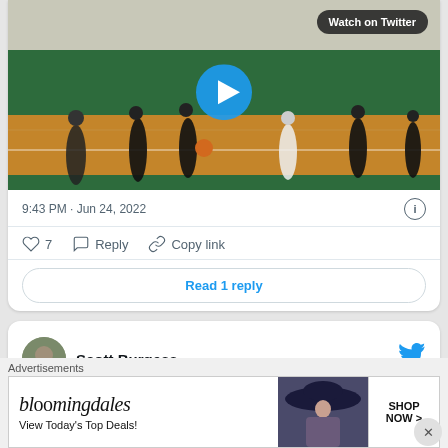[Figure (screenshot): Basketball game video thumbnail with 'Watch on Twitter' badge and play button overlay]
9:43 PM · Jun 24, 2022
♡ 7   ◯ Reply   🔗 Copy link
Read 1 reply
Scott Burgess
Advertisements
[Figure (screenshot): Bloomingdale's advertisement banner: 'bloomingdales View Today's Top Deals!' with SHOP NOW > button and woman with hat image]